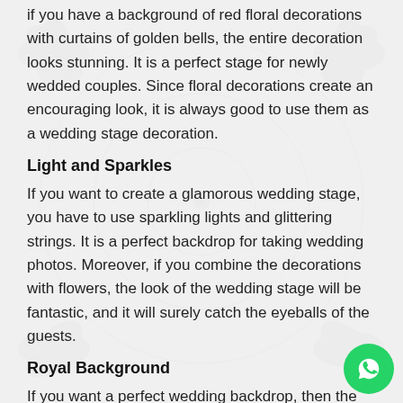if you have a background of red floral decorations with curtains of golden bells, the entire decoration looks stunning. It is a perfect stage for newly wedded couples. Since floral decorations create an encouraging look, it is always good to use them as a wedding stage decoration.
Light and Sparkles
If you want to create a glamorous wedding stage, you have to use sparkling lights and glittering strings. It is a perfect backdrop for taking wedding photos. Moreover, if you combine the decorations with flowers, the look of the wedding stage will be fantastic, and it will surely catch the eyeballs of the guests.
Royal Background
If you want a perfect wedding backdrop, then the Royal background is always the first choice. It creates a royal ambiance during the event and an ideal wedding stage for the newly wedded couple. Moreover, you will be able to take gr clicks with the royal background that will remain in your